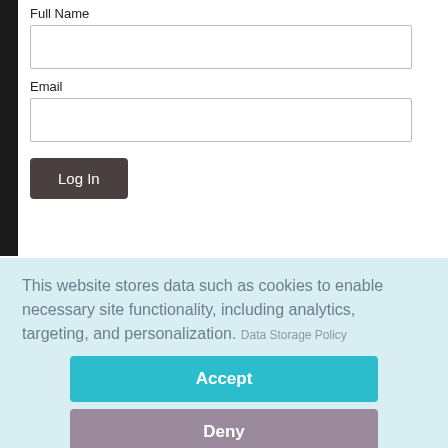Full Name
Email
Log In
Resources
Timeline of Light
Latest News
Videos
This website stores data such as cookies to enable necessary site functionality, including analytics, targeting, and personalization. Data Storage Policy
Accept
Deny